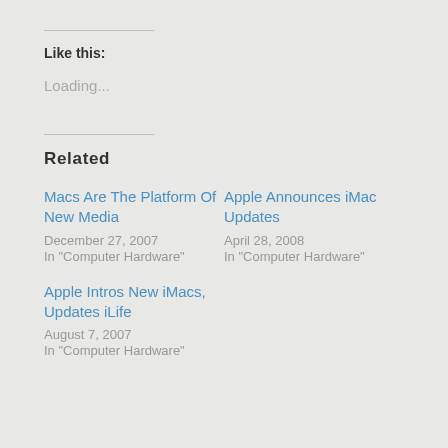Like this:
Loading...
Related
Macs Are The Platform Of New Media
December 27, 2007
In "Computer Hardware"
Apple Announces iMac Updates
April 28, 2008
In "Computer Hardware"
Apple Intros New iMacs, Updates iLife
August 7, 2007
In "Computer Hardware"